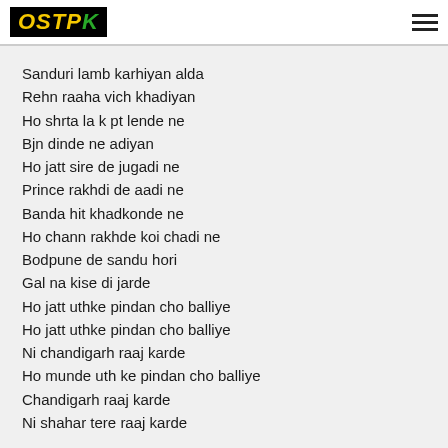OSTPK
Sanduri lamb karhiyan alda
Rehn raaha vich khadiyan
Ho shrta la k pt lende ne
Bjn dinde ne adiyan
Ho jatt sire de jugadi ne
Prince rakhdi de aadi ne
Banda hit khadkonde ne
Ho chann rakhde koi chadi ne
Bodpune de sandu hori
Gal na kise di jarde
Ho jatt uthke pindan cho balliye
Ho jatt uthke pindan cho balliye
Ni chandigarh raaj karde
Ho munde uth ke pindan cho balliye
Chandigarh raaj karde
Ni shahar tere raaj karde